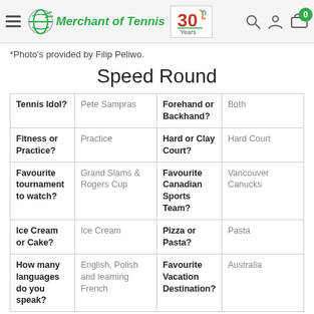Merchant of Tennis — 30 Years
*Photo's provided by Filip Peliwo.
Speed Round
| Tennis Idol? | Pete Sampras | Forehand or Backhand? | Both |
| Fitness or Practice? | Practice | Hard or Clay Court? | Hard Court |
| Favourite tournament to watch? | Grand Slams & Rogers Cup | Favourite Canadian Sports Team? | Vancouver Canucks |
| Ice Cream or Cake? | Ice Cream | Pizza or Pasta? | Pasta |
| How many languages do you speak? | English, Polish and learning French | Favourite Vacation Destination? | Australia |